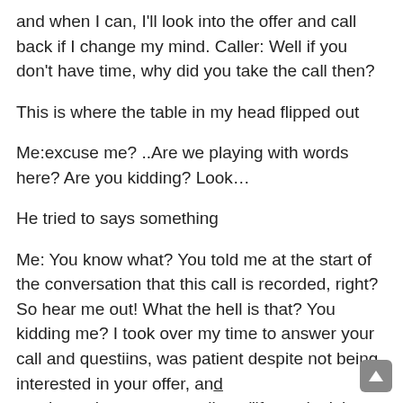and when I can, I'll look into the offer and call back if I change my mind. Caller: Well if you don't have time, why did you take the call then?
This is where the table in my head flipped out
Me:excuse me? ..Are we playing with words here? Are you kidding? Look…
He tried to says something
Me: You know what? You told me at the start of the conversation that this call is recorded, right? So hear me out! What the hell is that? You kidding me? I took over my time to answer your call and questiins, was patient despite not being interested in your offer, and you have the purves to tell me "if you don't have time